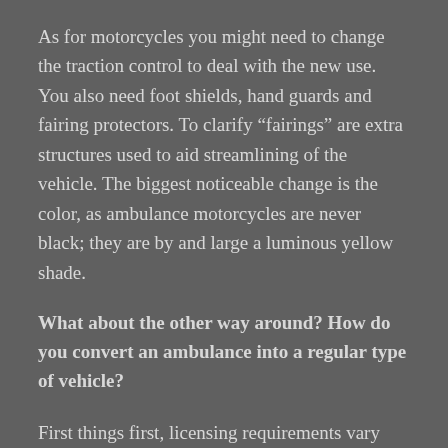As for motorcycles you might need to change the traction control to deal with the new use. You also need foot shields, hand guards and fairing protectors. To clarify “fairings” are extra structures used to aid streamlining of the vehicle. The biggest noticeable change is the color, as ambulance motorcycles are never black; they are by and large a luminous yellow shade.
What about the other way around? How do you convert an ambulance into a regular type of vehicle?
First things first, licensing requirements vary state to state. Some states go off the VIN (Vehicle Identification Number) and once something was born an ambulance it will always be one. Therefore you can turn it into anything you want for all anyone cares, but you still